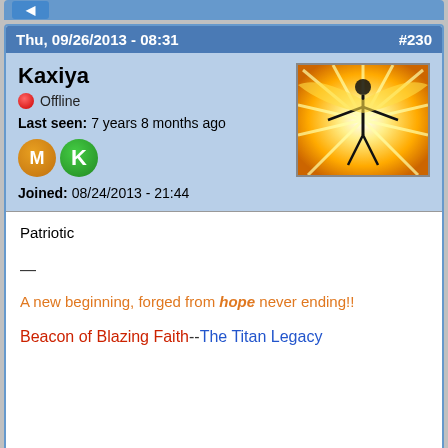Thu, 09/26/2013 - 08:31  #230
Kaxiya
Offline
Last seen: 7 years 8 months ago
Joined: 08/24/2013 - 21:44
[Figure (illustration): Avatar image showing a glowing figure with outstretched arms surrounded by bright yellow/white radiant light]
Patriotic
—
A new beginning, forged from hope never ending!!
Beacon of Blazing Faith--The Titan Legacy
Top